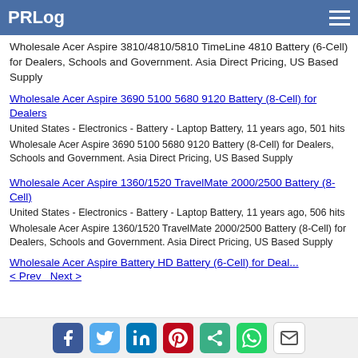PRLog
Wholesale Acer Aspire 3810/4810/5810 TimeLine 4810 Battery (6-Cell) for Dealers, Schools and Government. Asia Direct Pricing, US Based Supply
Wholesale Acer Aspire 3690 5100 5680 9120 Battery (8-Cell) for Dealers
United States - Electronics - Battery - Laptop Battery, 11 years ago, 501 hits
Wholesale Acer Aspire 3690 5100 5680 9120 Battery (8-Cell) for Dealers, Schools and Government. Asia Direct Pricing, US Based Supply
Wholesale Acer Aspire 1360/1520 TravelMate 2000/2500 Battery (8-Cell)
United States - Electronics - Battery - Laptop Battery, 11 years ago, 506 hits
Wholesale Acer Aspire 1360/1520 TravelMate 2000/2500 Battery (8-Cell) for Dealers, Schools and Government. Asia Direct Pricing, US Based Supply